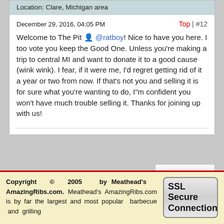Location: Clare, Michigan area
December 29, 2016, 04:05 PM
Top | #12
Welcome to The Pit @ratboy! Nice to have you here. I too vote you keep the Good One. Unless you're making a trip to central MI and want to donate it to a good cause (wink wink). I fear, if it were me, I'd regret getting rid of it a year or two from now. If that's not you and selling it is for sure what you're wanting to do, I"m confident you won't have much trouble selling it. Thanks for joining up with us!
Top
Copyright © 2005 by Meathead's AmazingRibs.com. Meathead's AmazingRibs.com is by far the largest and most popular barbecue and grilling
[Figure (logo): SSL Secure Connection badge with padlock icon on green background]